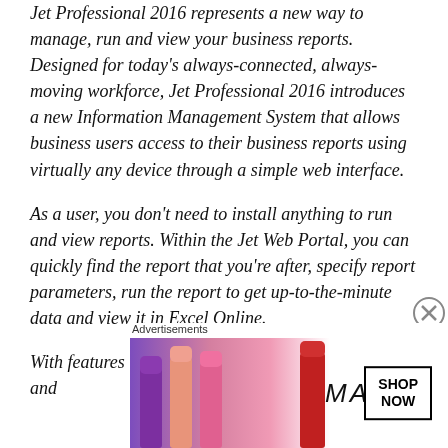Jet Professional 2016 represents a new way to manage, run and view your business reports. Designed for today's always-connected, always-moving workforce, Jet Professional 2016 introduces a new Information Management System that allows business users access to their business reports using virtually any device through a simple web interface.
As a user, you don't need to install anything to run and view reports. Within the Jet Web Portal, you can quickly find the report that you're after, specify report parameters, run the report to get up-to-the-minute data and view it in Excel Online.
With features like sharing, search, version control and
Advertisements
[Figure (other): MAC cosmetics advertisement banner showing lipsticks on a pink/purple background with MAC logo and SHOP NOW button]